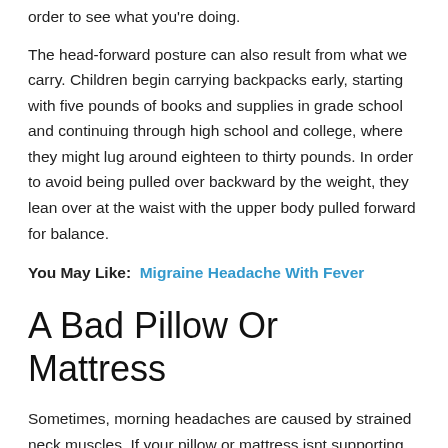... in order to see what you're doing.
The head-forward posture can also result from what we carry. Children begin carrying backpacks early, starting with five pounds of books and supplies in grade school and continuing through high school and college, where they might lug around eighteen to thirty pounds. In order to avoid being pulled over backward by the weight, they lean over at the waist with the upper body pulled forward for balance.
You May Like:  Migraine Headache With Fever
A Bad Pillow Or Mattress
Sometimes, morning headaches are caused by strained neck muscles. If your pillow or mattress isnt supporting your neck in the right way, your unhealthy sleep posture can make your...